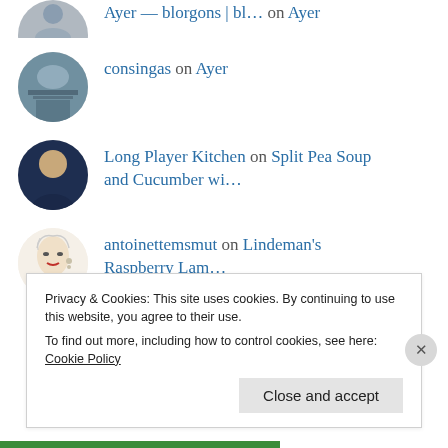Ayer — blorgons | bl… on Ayer
consingas on Ayer
Long Player Kitchen on Split Pea Soup and Cucumber wi…
antoinettemsmut on Lindeman's Raspberry Lam…
Privacy & Cookies: This site uses cookies. By continuing to use this website, you agree to their use.
To find out more, including how to control cookies, see here:
Cookie Policy
Close and accept